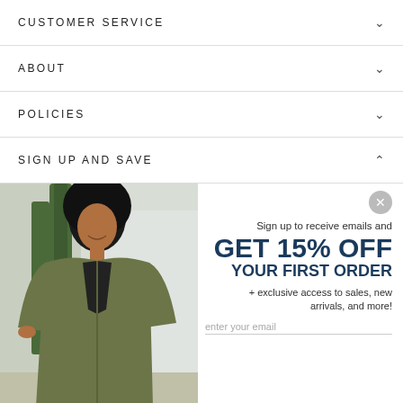CUSTOMER SERVICE
ABOUT
POLICIES
SIGN UP AND SAVE
[Figure (photo): Woman wearing an olive green utility jacket smiling, standing outdoors near trees and a building]
Sign up to receive emails and GET 15% OFF YOUR FIRST ORDER + exclusive access to sales, new arrivals, and more!
enter your email